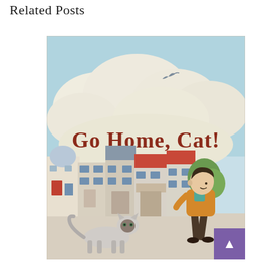Related Posts
[Figure (illustration): Book cover for 'Go Home, Cat!' by Sonya Hartnett and Lucia Masciullo. Illustrated cover showing a boy in a yellow jacket walking with a siamese cat following him, European-style buildings in the background, large fluffy clouds and a light teal sky, a bird flying overhead. The title 'Go Home, Cat!' is displayed in large terracotta/rust colored text, and the authors' names 'Sonya Hartnett' and 'Lucia Masciullo' appear below in dark text.]